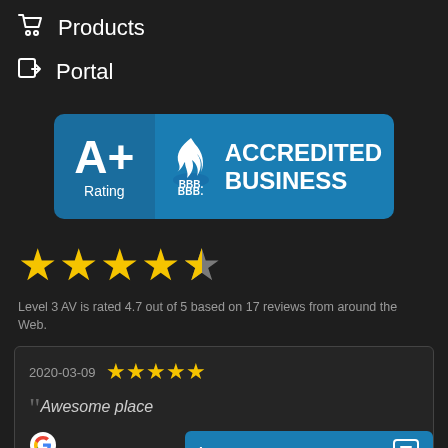Products
Portal
[Figure (logo): BBB A+ Rating Accredited Business badge with blue background]
[Figure (infographic): 4.7 out of 5 stars rating display]
Level 3 AV is rated 4.7 out of 5 based on 17 reviews from around the Web.
[Figure (screenshot): Customer review box dated 2020-03-09 with 5 stars and text 'Awesome place' from Google]
[Figure (other): Leave a message chat widget button]